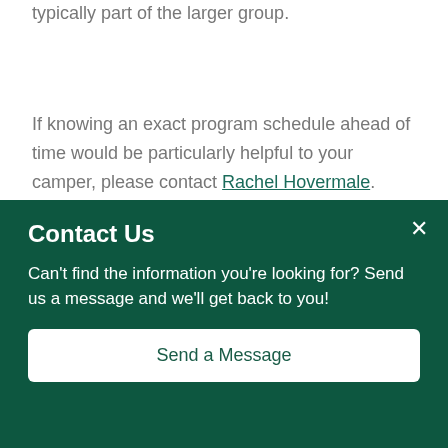typically part of the larger group.
If knowing an exact program schedule ahead of time would be particularly helpful to your camper, please contact Rachel Hovermale.
Back to top
Life at Camp
Contact Us
Can't find the information you're looking for? Send us a message and we'll get back to you!
Send a Message